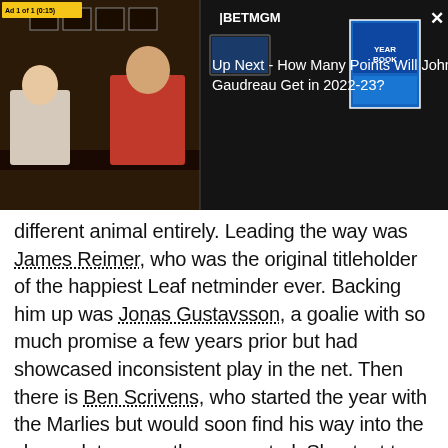[Figure (screenshot): Video player thumbnail showing two men at a sports studio desk with TV screens. Overlay shows 'Ad 1 of 1 (0:15)' badge, BetMGM logo, a Yearbook graphic, close button, and 'Up Next - How Many Points Will Johnny Gaudreau Get in 2022-23?' text.]
different animal entirely. Leading the way was James Reimer, who was the original titleholder of the happiest Leaf netminder ever. Backing him up was Jonas Gustavsson, a goalie with so much promise a few years prior but had showcased inconsistent play in the net. Then there is Ben Scrivens, who started the year with the Marlies but would soon find his way into the show a lot sooner than expected. Shoutout to Jussi Rynnas who showed up at the tail end of the season and filled the role of "The Other Guy."